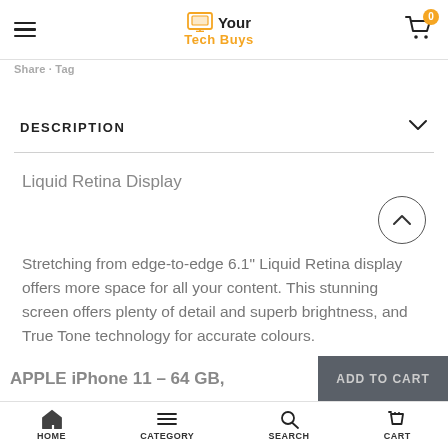Your Tech Buys
Share · Tag
DESCRIPTION
Liquid Retina Display
Stretching from edge-to-edge 6.1" Liquid Retina display offers more space for all your content. This stunning screen offers plenty of detail and superb brightness, and True Tone technology for accurate colours.
APPLE iPhone 11 – 64 GB,
HOME  CATEGORY  SEARCH  CART